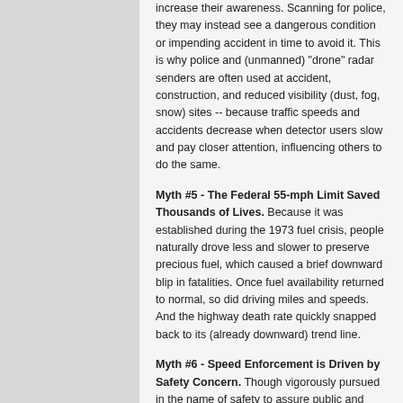increase their awareness. Scanning for police, they may instead see a dangerous condition or impending accident in time to avoid it. This is why police and (unmanned) "drone" radar senders are often used at accident, construction, and reduced visibility (dust, fog, snow) sites -- because traffic speeds and accidents decrease when detector users slow and pay closer attention, influencing others to do the same.
Myth #5 - The Federal 55-mph Limit Saved Thousands of Lives. Because it was established during the 1973 fuel crisis, people naturally drove less and slower to preserve precious fuel, which caused a brief downward blip in fatalities. Once fuel availability returned to normal, so did driving miles and speeds. And the highway death rate quickly snapped back to its (already downward) trend line.
Myth #6 - Speed Enforcement is Driven by Safety Concern. Though vigorously pursued in the name of safety to assure public and media support, it's been mostly about money for almost three decades. A recent feature in my local paper stated this clearly: "Citations rise to 6-year high," trumpeted the subhead. "The tickets are expected to pump a much-needed $1.5 million into the city's general fund." While public safety was the stated reason, no data was offered to show that our streets and highways are any safer as a result.
Myth #7 - Lower Speed Limits Reduce Average Speeds and Accidents. Multiple studies have shown that drivers adjust their speeds primarily to road, weather and traffic conditions. Setting limits at the "85th percentile" speed, where 85 percent are at or below (and only about 5 percent are significantly above), always results in maximum compliance and fewest accidents. Posting limits well below